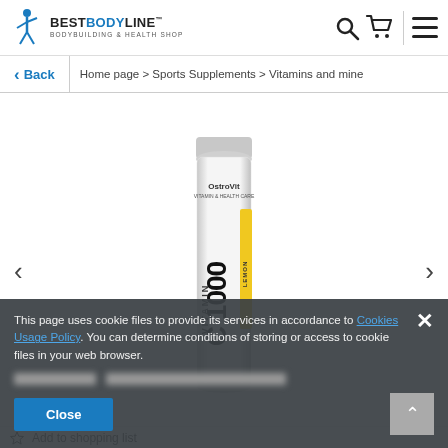[Figure (logo): BestBodyLine Bodybuilding & Health Shop logo with stylized figure]
Back
Home page > Sports Supplements > Vitamins and mine
[Figure (photo): OstroVit Vitamin C 1000 Lemon effervescent tablet tube product image]
This page uses cookie files to provide its services in accordance to Cookies Usage Policy. You can determine conditions of storing or access to cookie files in your web browser.
Close
Add to shopping list